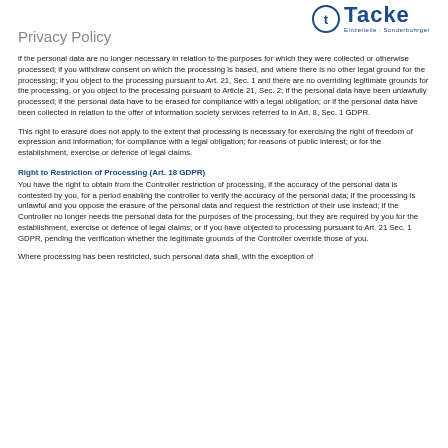Privacy Policy
[Figure (logo): Tacke company logo with circular CE-like symbol and tagline 'Einzelteile · Sonderbohrger']
if the personal data are no longer necessary in relation to the purposes for which they were collected or otherwise processed; if you withdraw consent on which the processing is based, and where there is no other legal ground for the processing; if you object to the processing pursuant to Art. 21, Sec. 1 and there are no overriding legitimate grounds for the processing, or you object to the processing pursuant to Article 21, Sec. 2; if the personal data have been unlawfully processed; if the personal data have to be erased for compliance with a legal obligation; or if the personal data have been collected in relation to the offer of information society services referred to in Art. 8, Sec. 1 GDPR.
This right to erasure does not apply to the extent that processing is necessary for exercising the right of freedom of expression and information; for compliance with a legal obligation; for reasons of public interest; or for the establishment, exercise or defence of legal claims.
Right to Restriction of Processing (Art. 18 GDPR)
You have the right to obtain from the Controller restriction of processing, if the accuracy of the personal data is contested by you, for a period enabling the controller to verify the accuracy of the personal data; if the processing is unlawful and you oppose the erasure of the personal data and request the restriction of their use instead; if the Controller no longer needs the personal data for the purposes of the processing, but they are required by you for the establishment, exercise or defence of legal claims; or if you have objected to processing pursuant to Art. 21 Sec. 1 GDPR, pending the verification whether the legitimate grounds of the Controller override those of you.
Where processing has been restricted, such personal data shall, with the exception of